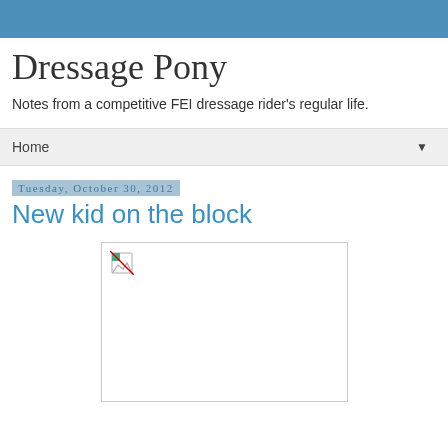Dressage Pony
Notes from a competitive FEI dressage rider's regular life.
Home
Tuesday, October 30, 2012
New kid on the block
[Figure (photo): Broken image placeholder with a small broken image icon in the top-left corner of a white rectangle with a gray border]